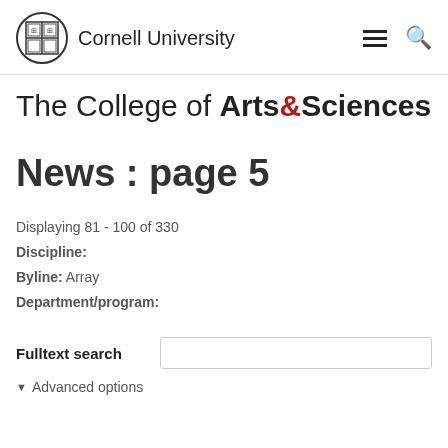Cornell University
The College of Arts&Sciences
News : page 5
Displaying 81 - 100 of 330
Discipline:
Byline: Array
Department/program:
Fulltext search
▾ Advanced options